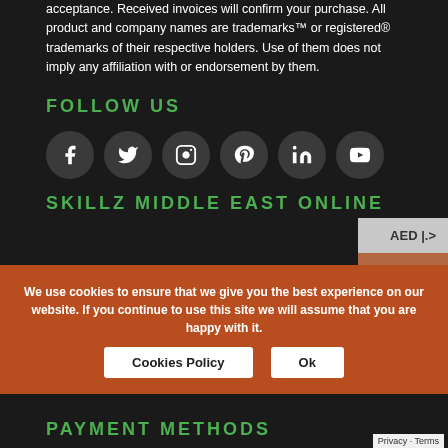acceptance. Received invoices will confirm your purchase. All product and company names are trademarks™ or registered® trademarks of their respective holders. Use of them does not imply any affiliation with or endorsement by them.
FOLLOW US
[Figure (illustration): Six social media icon circles: Facebook, Twitter, Instagram, Pinterest, LinkedIn, YouTube]
AED |.>
USD $
SKILLZ MIDDLE EAST ONLINE
We use cookies to ensure that we give you the best experience on our website. If you continue to use this site we will assume that you are happy with it.
Cookies Policy
Ok
PAYMENT METHODS
Privacy · Terms